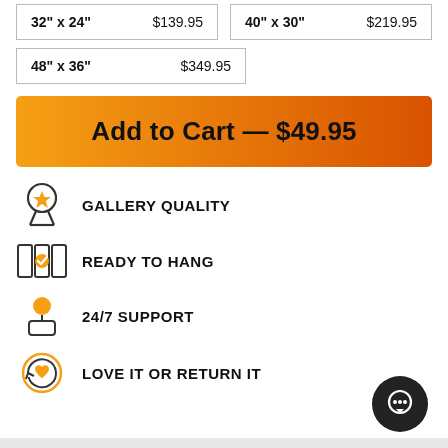| 32" x 24" | $139.95 | 40" x 30" | $219.95 |
| 48" x 36" | $349.95 |  |  |
Add to Cart — $49.95
GALLERY QUALITY
READY TO HANG
24/7 SUPPORT
LOVE IT OR RETURN IT